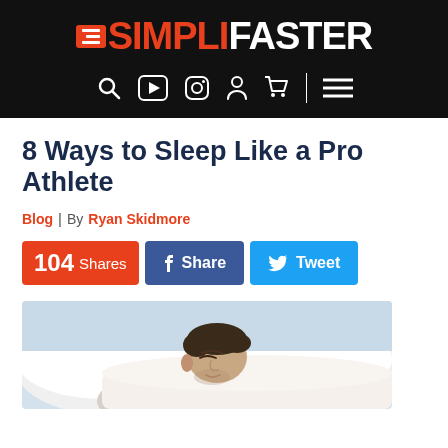SIMPLIFASTER — navigation bar with logo and icons
8 Ways to Sleep Like a Pro Athlete
Blog | By Ryan Skidmore
104 Shares  Share  Tweet
[Figure (photo): A man sleeping peacefully on a bed with white pillows, eyes closed, face relaxed, photographed from the side.]